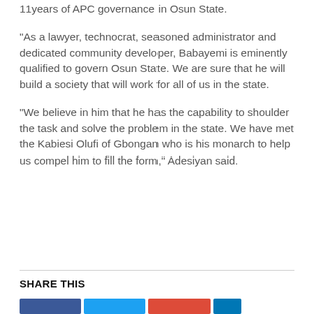11years of APC governance in Osun State.
"As a lawyer, technocrat, seasoned administrator and dedicated community developer, Babayemi is eminently qualified to govern Osun State. We are sure that he will build a society that will work for all of us in the state.
"We believe in him that he has the capability to shoulder the task and solve the problem in the state. We have met the Kabiesi Olufi of Gbongan who is his monarch to help us compel him to fill the form," Adesiyan said.
SHARE THIS